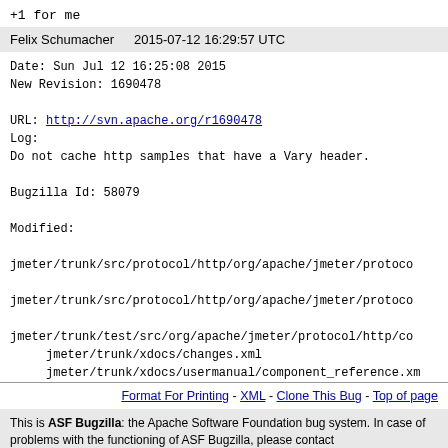+1 for me
Felix Schumacher   2015-07-12 16:29:57 UTC
Date: Sun Jul 12 16:25:08 2015
New Revision: 1690478

URL: http://svn.apache.org/r1690478
Log:
Do not cache http samples that have a Vary header.

Bugzilla Id: 58079

Modified:
jmeter/trunk/src/protocol/http/org/apache/jmeter/protoco
jmeter/trunk/src/protocol/http/org/apache/jmeter/protoco
jmeter/trunk/test/src/org/apache/jmeter/protocol/http/co
     jmeter/trunk/xdocs/changes.xml
     jmeter/trunk/xdocs/usermanual/component_reference.xm
Format For Printing - XML - Clone This Bug - Top of page
This is ASF Bugzilla: the Apache Software Foundation bug system. In case of problems with the functioning of ASF Bugzilla, please contact